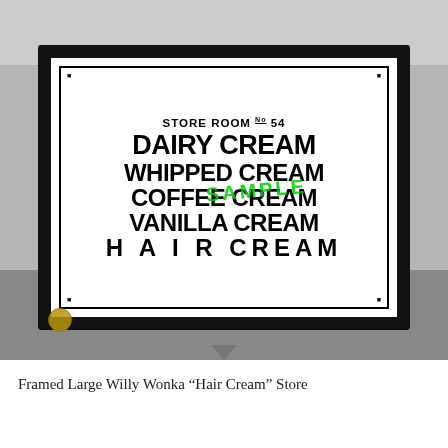[Figure (photo): Photo of a framed black-and-white sign reading 'STORE ROOM No 54 / DAIRY CREAM / WHIPPED CREAM / COFFEE CREAM / VANILLA CREAM / H A I R  CREAM', displayed on a concrete surface. A green 'SAMPLE' watermark is overlaid diagonally across the sign.]
Framed Large Willy Wonka “Hair Cream” Store